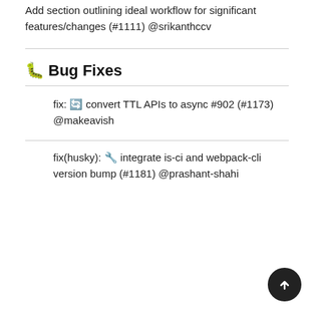Add section outlining ideal workflow for significant features/changes (#1111) @srikanthccv
🐛 Bug Fixes
fix: 🔄 convert TTL APIs to async #902 (#1173) @makeavish
fix(husky): 🔧 integrate is-ci and webpack-cli version bump (#1181) @prashant-shahi